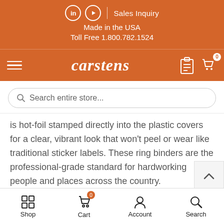Sales Inquiry | Made in the USA | Toll Free 1.800.782.1524
carstens
Search entire store...
is hot-foil stamped directly into the plastic covers for a clear, vibrant look that won't peel or wear like traditional sticker labels. These ring binders are the professional-grade standard for hardworking people and places across the country.
Shop | Cart | Account | Search